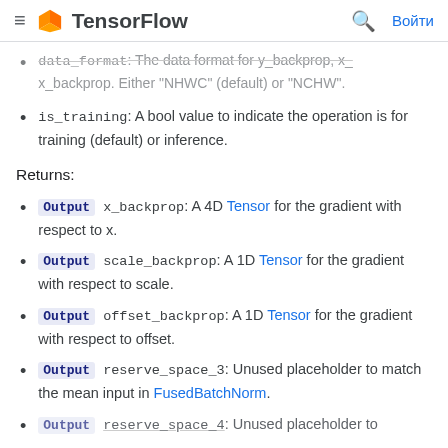≡ TensorFlow  🔍 Войти
data_format: The data format for y_backprop, x_backprop. Either "NHWC" (default) or "NCHW".
is_training: A bool value to indicate the operation is for training (default) or inference.
Returns:
Output  x_backprop: A 4D Tensor for the gradient with respect to x.
Output  scale_backprop: A 1D Tensor for the gradient with respect to scale.
Output  offset_backprop: A 1D Tensor for the gradient with respect to offset.
Output  reserve_space_3: Unused placeholder to match the mean input in FusedBatchNorm.
Output  reserve_space_4: Unused placeholder to